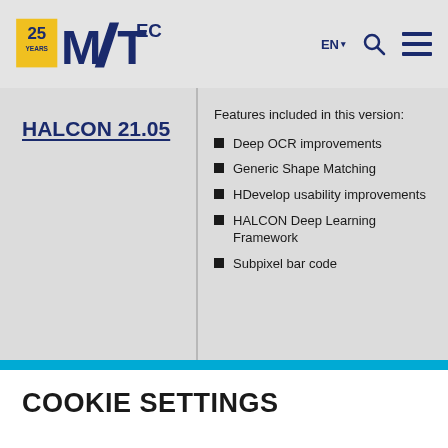MVTec logo - 25 YEARS MVTEC, EN navigation, search and menu icons
HALCON 21.05
Features included in this version:
Deep OCR improvements
Generic Shape Matching
HDevelop usability improvements
HALCON Deep Learning Framework
Subpixel bar code
COOKIE SETTINGS